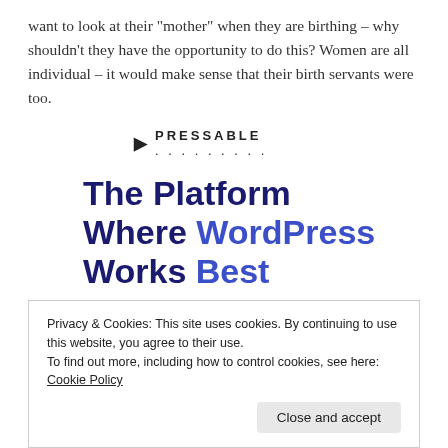want to look at their “mother” when they are birthing – why shouldn’t they have the opportunity to do this? Women are all individual – it would make sense that their birth servants were too.
[Figure (logo): Pressable logo with dotted line below]
The Platform Where WordPress Works Best
[Figure (other): SEE PRICING button partially visible]
Privacy & Cookies: This site uses cookies. By continuing to use this website, you agree to their use.
To find out more, including how to control cookies, see here: Cookie Policy
Close and accept